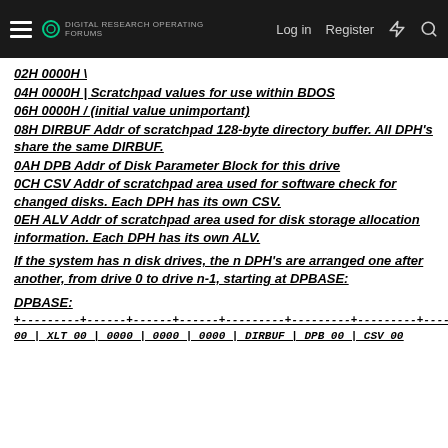Log in  Register
02H 0000H \
04H 0000H | Scratchpad values for use within BDOS
06H 0000H / (initial value unimportant)
08H DIRBUF Addr of scratchpad 128-byte directory buffer. All DPH's share the same DIRBUF.
0AH DPB Addr of Disk Parameter Block for this drive
0CH CSV Addr of scratchpad area used for software check for changed disks. Each DPH has its own CSV.
0EH ALV Addr of scratchpad area used for disk storage allocation information. Each DPH has its own ALV.
If the system has n disk drives, the n DPH's are arranged one after another, from drive 0 to drive n-1, starting at DPBASE:
DPBASE:
+---------+------+------+------+---------+---------+---------+---------+
00 | XLT 00 | 0000 | 0000 | 0000 | DIRBUF | DPB 00 | CSV 00